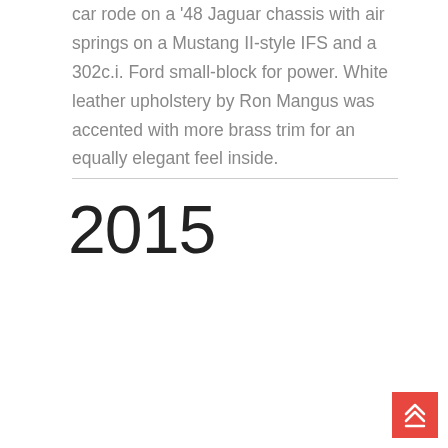car rode on a '48 Jaguar chassis with air springs on a Mustang II-style IFS and a 302c.i. Ford small-block for power. White leather upholstery by Ron Mangus was accented with more brass trim for an equally elegant feel inside.
2015